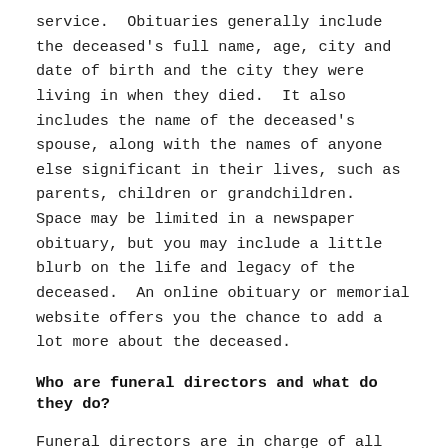service.  Obituaries generally include the deceased's full name, age, city and date of birth and the city they were living in when they died.  It also includes the name of the deceased's spouse, along with the names of anyone else significant in their lives, such as parents, children or grandchildren.  Space may be limited in a newspaper obituary, but you may include a little blurb on the life and legacy of the deceased.  An online obituary or memorial website offers you the chance to add a lot more about the deceased.
Who are funeral directors and what do they do?
Funeral directors are in charge of all the logistics following a death.  They complete all the necessary paperwork, make arrangements for the transportation of the body, and put into action the choices made by the family in regards to the funeral service and the final resting place of the body.  Beyond the logistics,